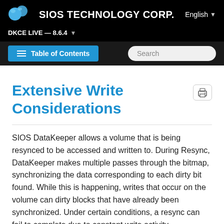SIOS TECHNOLOGY CORP.   English
DKCE LIVE — 8.6.4
Extensive Write Considerations
SIOS DataKeeper allows a volume that is being resynced to be accessed and written to. During Resync, DataKeeper makes multiple passes through the bitmap, synchronizing the data corresponding to each dirty bit found. While this is happening, writes that occur on the volume can dirty blocks that have already been synchronized. Under certain conditions, a resync can fail to complete due to constant write activity